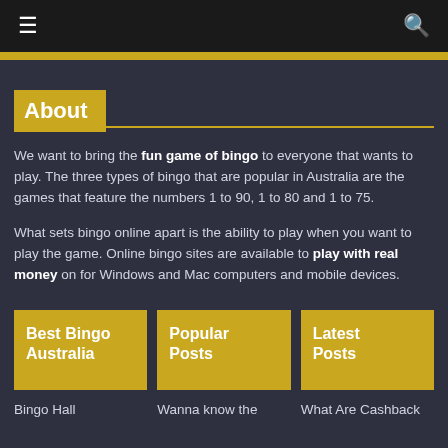≡  🔍
About
We want to bring the fun game of bingo to everyone that wants to play. The three types of bingo that are popular in Australia are the games that feature the numbers 1 to 90, 1 to 80 and 1 to 75.
What sets bingo online apart is the ability to play when you want to play the game. Online bingo sites are available to play with real money on for Windows and Mac computers and mobile devices.
Best Bingo Australia
Popular Posts
Latest Posts
Bingo Hall
Wanna know the
What Are Cashback